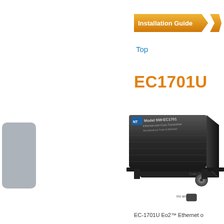[Figure (logo): Installation Guide badge/banner in orange with arrow shape and white bold text]
Top
EC1701U
[Figure (photo): Gray rounded rectangle placeholder image on left side]
[Figure (photo): Photo of EC1701U device - dark metallic box with BNC connector labeled Coax Data and another port labeled ins ana]
EC-1701U Eo2™ Ethernet o